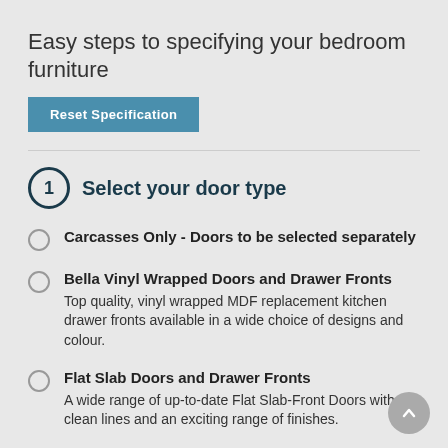Easy steps to specifying your bedroom furniture
Reset Specification
1  Select your door type
Carcasses Only - Doors to be selected separately
Bella Vinyl Wrapped Doors and Drawer Fronts — Top quality, vinyl wrapped MDF replacement kitchen drawer fronts available in a wide choice of designs and colour.
Flat Slab Doors and Drawer Fronts — A wide range of up-to-date Flat Slab-Front Doors with clean lines and an exciting range of finishes.